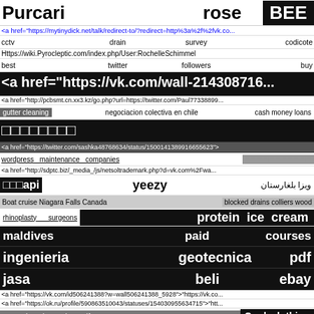Purcari   rose   BEE
<a href="https://mytinydick.net/talk/redirect-to/?redirect=http%3a%2f%2fvk.com/...
cctv   drain   survey   codicote
Https://wiki.Pyrocleptic.com/index.php/User:RochelleSchimmel
best   twitter   followers   buy
<a href="https://vk.com/wall-214308716...
<a href="http://pcbsmt.cn.xx3.kz/go.php?url=https://twitter.com/Paul77338899...
gutter cleaning   negociacion colectiva en chile   cash money loans
□□□□□□□□
<a href="https://twitter.com/sashka48768634/status/150014138991665562e3">
wordpress   maintenance   companies   □ □ □ □ □ □ □ □ □ □ □
<a href="http://sdptc.biz/_media_/js/netsoltrademark.php?d=vk.com%2Fwa...
□□□api   yeezy   ویزا بلغارستان
Boat cruise Niagara Falls Canada   blocked drains colliers wood
rhinoplasty___surgeons   protein ice cream
maldives   paid   courses
ingenieria   geotecnica   pdf
jasa   beli   ebay
<a href="https://vk.com/id506241388?w=wall506241388_5928">"https://vk.co...
<a href="https://ok.ru/profile/590863510043/statuses/154030955634715">"htt...
mecanica de suelos pdf   Cool clothing
tragbarer dvb t2 fernseher   tranh go treo phong khach   □□□
<a href="https://twitter.com/...